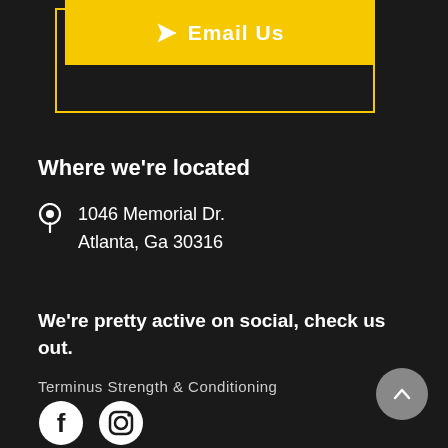[Figure (other): Yellow filled button with paper plane icon and text 'Email Us', surrounded by a yellow border outline, on dark background]
Where we're located
1046 Memorial Dr.
Atlanta, Ga 30316
We're pretty active on social, check us out.
Terminus Strength & Conditioning
[Figure (other): Facebook and Instagram social media icons (circular white icons on dark background)]